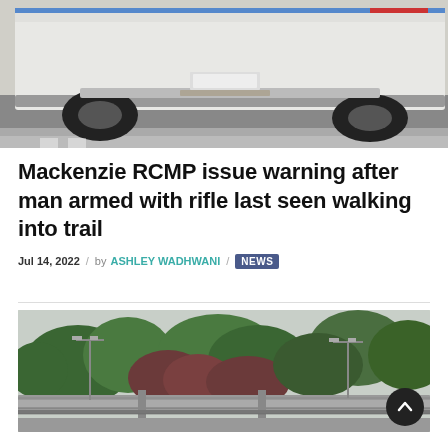[Figure (photo): Rear view of a white RCMP police vehicle parked on a road, showing blue and red markings on the roof rack, tires on pavement with a curb visible]
Mackenzie RCMP issue warning after man armed with rifle last seen walking into trail
Jul 14, 2022 / by ASHLEY WADHWANI / NEWS
[Figure (photo): Outdoor scene showing a highway overpass or bridge structure with light poles, surrounded by green and dark red trees against an overcast sky — likely Mackenzie, BC area]